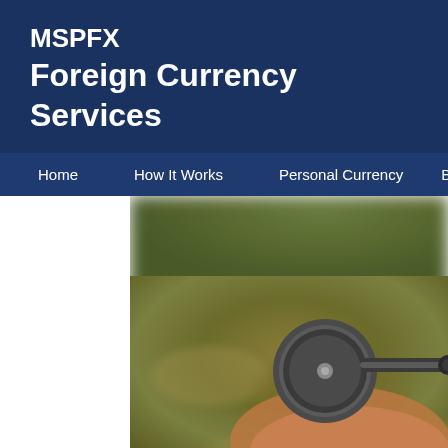MSPFX
Foreign Currency Services
Home   How It Works   Personal Currency   B...
[Figure (photo): Close-up photo of a compass on textured fabric background with green foliage blurred in the background, suggesting travel and navigation.]